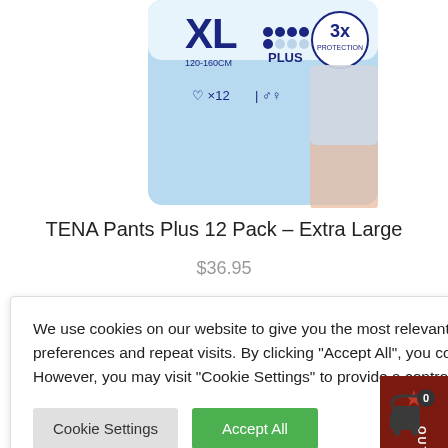[Figure (photo): TENA Pants Plus XL 12 Pack product packaging showing blue and white box with XL size indicator (120-160cm), PLUS level, 3x Protection badge, and count of 12 units]
TENA Pants Plus 12 Pack – Extra Large
$36.95
We use cookies on our website to give you the most relevant experience by remembering your preferences and repeat visits. By clicking “Accept All”, you consent to the use of ALL the cookies. However, you may visit "Cookie Settings" to provide a controlled consent. Read More
Cookie Settings | Accept All
[Figure (other): OUT OF STOCK badge in dark red/maroon ribbon shape with orange stars above and below the text]
[Figure (other): Shopping cart icon with badge showing count 0]